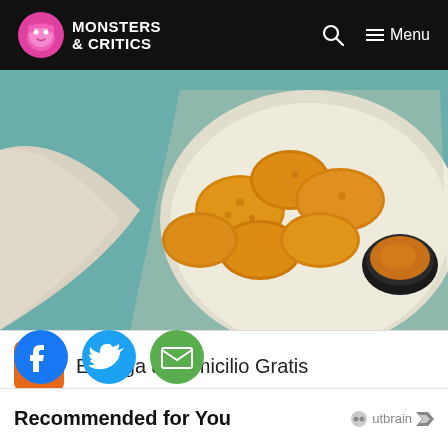MONSTERS & CRITICS
[Figure (photo): Plate of fried chicken nuggets/bites with a small bowl of dipping sauce on a white octagonal plate with a napkin, on a teal/blue surface]
[Figure (infographic): Advertisement: Entrega a Domicilio Gratis - Pollo Campero, Herndon 10AM-10PM]
[Figure (infographic): Social sharing buttons: Facebook, Twitter, Email]
Recommended for You